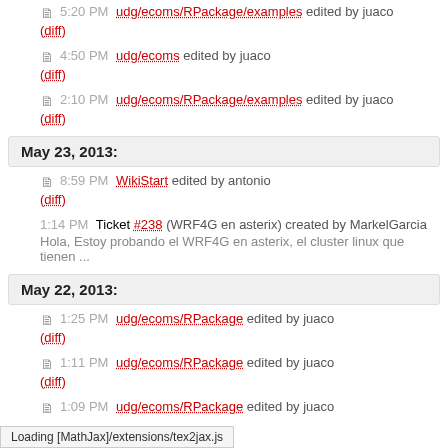5:20 PM udg/ecoms/RPackage/examples edited by juaco (diff)
4:50 PM udg/ecoms edited by juaco (diff)
2:10 PM udg/ecoms/RPackage/examples edited by juaco (diff)
May 23, 2013:
8:59 PM WikiStart edited by antonio (diff)
1:14 PM Ticket #238 (WRF4G en asterix) created by MarkelGarcia
Hola, Estoy probando el WRF4G en asterix, el cluster linux que tienen ...
May 22, 2013:
1:25 PM udg/ecoms/RPackage edited by juaco (diff)
1:11 PM udg/ecoms/RPackage edited by juaco (diff)
1:09 PM udg/ecoms/RPackage edited by juaco
Loading [MathJax]/extensions/tex2jax.js